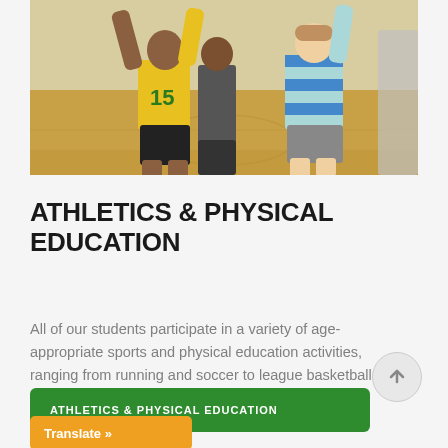[Figure (photo): Children playing basketball in a gymnasium. One child wearing a yellow jersey with number 15, another in a blue and white striped shirt.]
ATHLETICS & PHYSICAL EDUCATION
All of our students participate in a variety of age-appropriate sports and physical education activities, ranging from running and soccer to league basketball and more.
ATHLETICS & PHYSICAL EDUCATION
Translate »